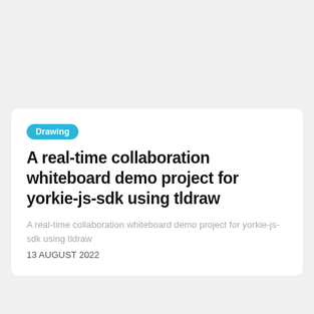Drawing
A real-time collaboration whiteboard demo project for yorkie-js-sdk using tldraw
A real-time collaboration whiteboard demo project for yorkie-js-sdk using tldraw
13 AUGUST 2022